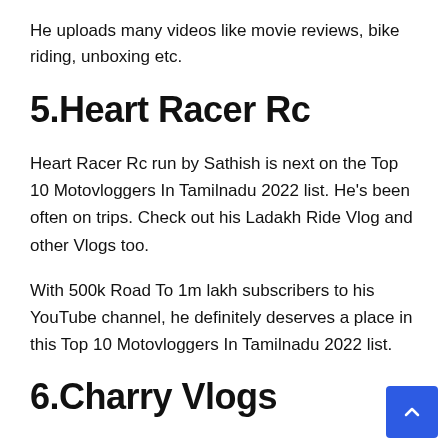He uploads many videos like movie reviews, bike riding, unboxing etc.
5.Heart Racer Rc
Heart Racer Rc run by Sathish is next on the Top 10 Motovloggers In Tamilnadu 2022 list. He's been often on trips. Check out his Ladakh Ride Vlog and other Vlogs too.
With 500k Road To 1m lakh subscribers to his YouTube channel, he definitely deserves a place in this Top 10 Motovloggers In Tamilnadu 2022 list.
6.Charry Vlogs